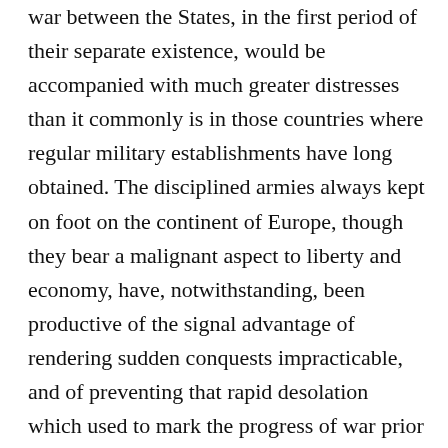war between the States, in the first period of their separate existence, would be accompanied with much greater distresses than it commonly is in those countries where regular military establishments have long obtained. The disciplined armies always kept on foot on the continent of Europe, though they bear a malignant aspect to liberty and economy, have, notwithstanding, been productive of the signal advantage of rendering sudden conquests impracticable, and of preventing that rapid desolation which used to mark the progress of war prior to their introduction. The art of fortification has contributed to the same ends. The nations of Europe are encircled with chains of fortified places, which mutually obstruct invasion. Campaigns are